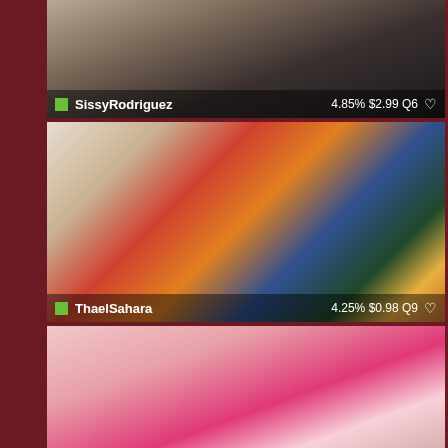[Figure (photo): Profile photo card for SissyRodriguez showing a woman in lingerie on a bed]
SissyRodriguez   4.85% $2.99 Q6 ♡
[Figure (photo): Profile photo card for ThaelSahara showing a smiling woman in white lingerie on a colorful patterned bed]
ThaelSahara   4.25% $0.98 Q9 ♡
[Figure (photo): Partial profile photo card for a third performer in pink lingerie on a bed]